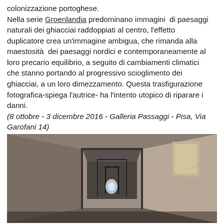colonizzazione portoghese.
Nella serie Groenlandia predominano immagini di paesaggi naturali dei ghiacciai raddoppiati al centro, l'effetto duplicatore crea un'immagine ambigua, che rimanda alla maestosità dei paesaggi nordici e contemporaneamente al loro precario equilibrio, a seguito di cambiamenti climatici che stanno portando al progressivo scioglimento dei ghiacciai, a un loro dimezzamento. Questa trasfigurazione fotografica-spiega l'autrice- ha l'intento utopico di riparare i danni.
(8 ottobre - 3 dicembre 2016 - Galleria Passaggi - Pisa, Via Garofani 14)
[Figure (photo): Interior photo of an abandoned or old building corridor with multiple doorways receding into the distance, stone or plaster walls with aged texture, dim lighting with light visible at the far end of the hallway.]